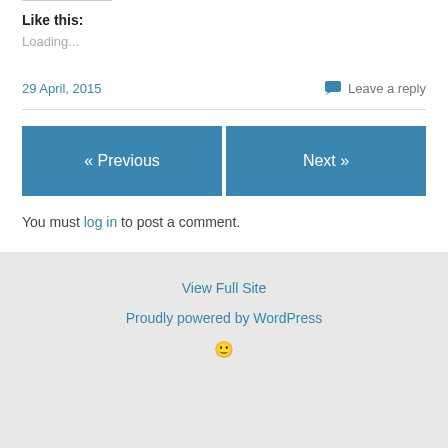Like this:
Loading...
29 April, 2015
Leave a reply
« Previous
Next »
You must log in to post a comment.
View Full Site
Proudly powered by WordPress